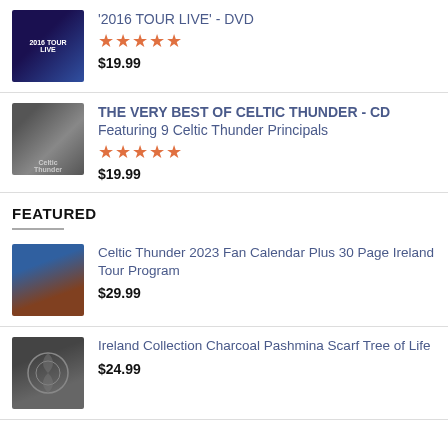'2016 TOUR LIVE' - DVD — 5 stars — $19.99
THE VERY BEST OF CELTIC THUNDER - CD Featuring 9 Celtic Thunder Principals — 5 stars — $19.99
FEATURED
Celtic Thunder 2023 Fan Calendar Plus 30 Page Ireland Tour Program — $29.99
Ireland Collection Charcoal Pashmina Scarf Tree of Life — $24.99